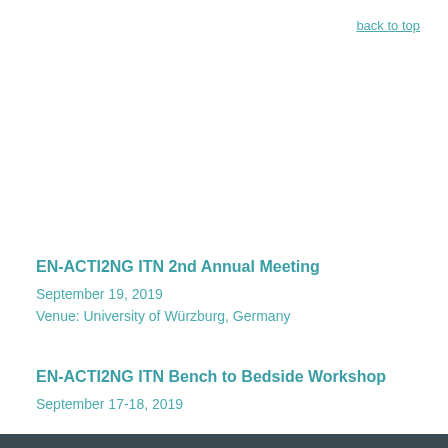back to top
EN-ACTI2NG ITN 2nd Annual Meeting
September 19, 2019
Venue: University of Würzburg, Germany
EN-ACTI2NG ITN Bench to Bedside Workshop
September 17-18, 2019